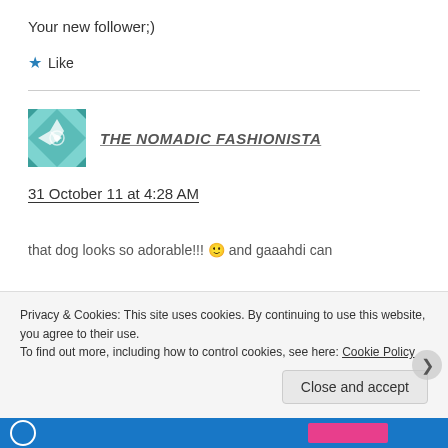Your new follower;)
★ Like
[Figure (logo): Teal geometric quilt-pattern square logo for The Nomadic Fashionista]
THE NOMADIC FASHIONISTA
31 October 11 at 4:28 AM
that dog looks so adorable!!! 🙂 and gaaahdi can
Privacy & Cookies: This site uses cookies. By continuing to use this website, you agree to their use.
To find out more, including how to control cookies, see here: Cookie Policy
Close and accept